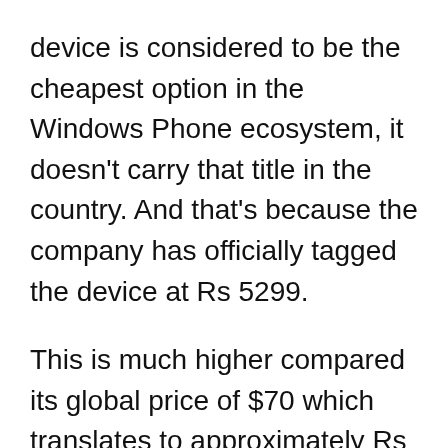device is considered to be the cheapest option in the Windows Phone ecosystem, it doesn't carry that title in the country. And that's because the company has officially tagged the device at Rs 5299.
This is much higher compared its global price of $70 which translates to approximately Rs 4455. The Lumia 435 which is a variant of the Microsoft Lumia 430 is available for just Rs 4999 which makes it the cheapest options from the [continues below]